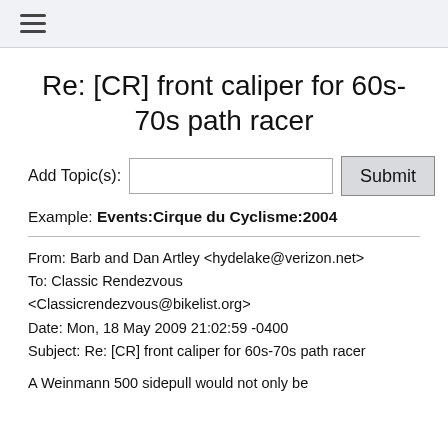≡ (hamburger menu icon)
Re: [CR] front caliper for 60s-70s path racer
Add Topic(s): [input field] Submit
Example: Events:Cirque du Cyclisme:2004
From: Barb and Dan Artley <hydelake@verizon.net>
To: Classic Rendezvous <Classicrendezvous@bikelist.org>
Date: Mon, 18 May 2009 21:02:59 -0400
Subject: Re: [CR] front caliper for 60s-70s path racer
A Weinmann 500 sidepull would not only be